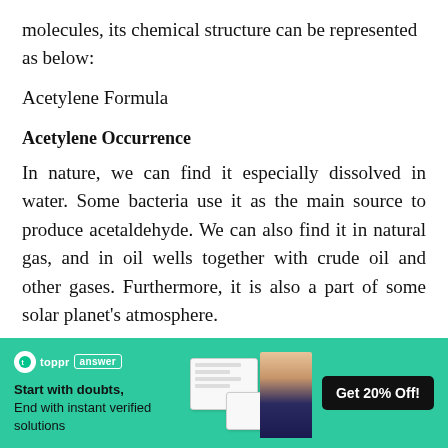molecules, its chemical structure can be represented as below:
Acetylene Formula
Acetylene Occurrence
In nature, we can find it especially dissolved in water. Some bacteria use it as the main source to produce acetaldehyde. We can also find it in natural gas, and in oil wells together with crude oil and other gases. Furthermore, it is also a part of some solar planet’s atmosphere.
Acetylene Preparation
[Figure (infographic): Toppr answer app advertisement banner with green background, logo, tagline 'Start with doubts, End with instant verified solutions', illustration of student and notebook, and 'Get 20% Off!' button]